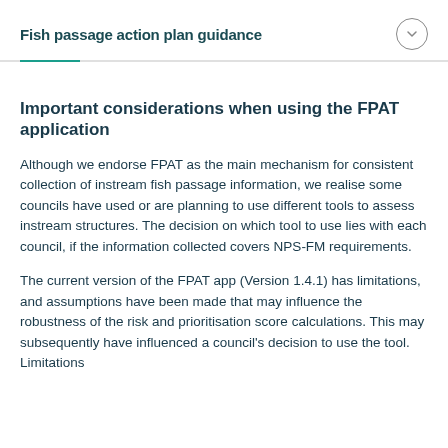Fish passage action plan guidance
Important considerations when using the FPAT application
Although we endorse FPAT as the main mechanism for consistent collection of instream fish passage information, we realise some councils have used or are planning to use different tools to assess instream structures. The decision on which tool to use lies with each council, if the information collected covers NPS-FM requirements.
The current version of the FPAT app (Version 1.4.1) has limitations, and assumptions have been made that may influence the robustness of the risk and prioritisation score calculations. This may subsequently have influenced a council's decision to use the tool. Limitations